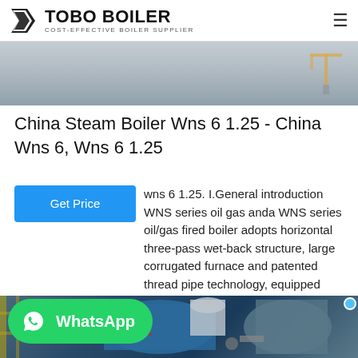TOBO BOILER — COST-EFFECTIVE BOILER SUPPLIER
[Figure (photo): Top partial photo of a boiler manufacturing facility interior]
China Steam Boiler Wns 6 1.25 - China Wns 6, Wns 6 1.25
wns 6 1.25. I.General introduction WNS series oil gas anda WNS series oil/gas fired boiler adopts horizontal three-pass wet-back structure, large corrugated furnace and patented thread pipe technology, equipped with international…
[Figure (photo): Large blue industrial steam boiler in a factory with Chinese characters on the tank, with a customer service representative avatar overlaid]
[Figure (illustration): WhatsApp contact button overlay]